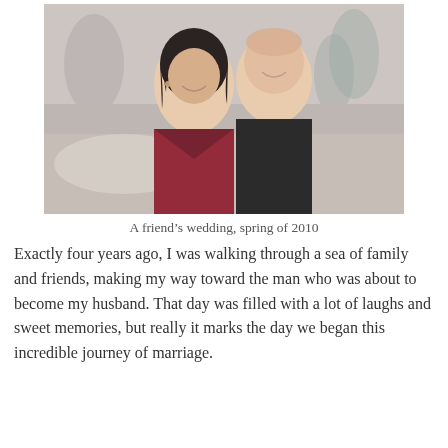[Figure (photo): A couple smiling at a friend's wedding in spring 2010. A woman with dark hair in a burgundy/red dress and a man in a black suit, posed together indoors.]
A friend's wedding, spring of 2010
Exactly four years ago, I was walking through a sea of family and friends, making my way toward the man who was about to become my husband. That day was filled with a lot of laughs and sweet memories, but really it marks the day we began this incredible journey of marriage.